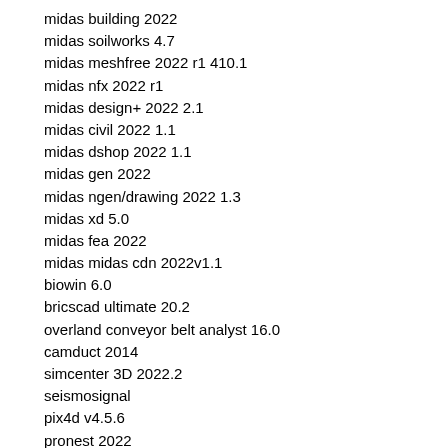midas building 2022
midas soilworks 4.7
midas meshfree 2022 r1 410.1
midas nfx 2022 r1
midas design+ 2022 2.1
midas civil 2022 1.1
midas dshop 2022 1.1
midas gen 2022
midas ngen/drawing 2022 1.3
midas xd 5.0
midas fea 2022
midas midas cdn 2022v1.1
biowin 6.0
bricscad ultimate 20.2
overland conveyor belt analyst 16.0
camduct 2014
simcenter 3D 2022.2
seismosignal
pix4d v4.5.6
pronest 2022
envi 5.5.3 full
applanix pospac mms 8.3
topodot